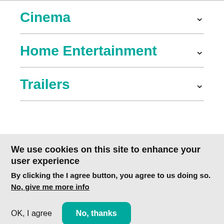Cinema
Home Entertainment
Trailers
We use cookies on this site to enhance your user experience
By clicking the I agree button, you agree to us doing so.
No, give me more info
OK, I agree
No, thanks